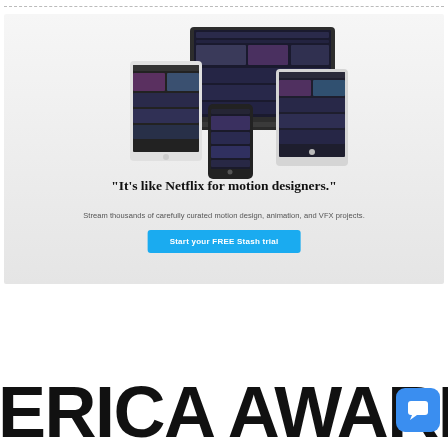[Figure (screenshot): Advertisement banner for Stash streaming service showing multiple devices (laptop, tablet, phone) displaying motion design content. Text reads: "It's like Netflix for motion designers." with subtext "Stream thousands of carefully curated motion design, animation, and VFX projects." and a blue CTA button "Start your FREE Stash trial"]
ERICA AWARDS
[Figure (other): Blue rounded square chat/messaging button icon in bottom right corner]